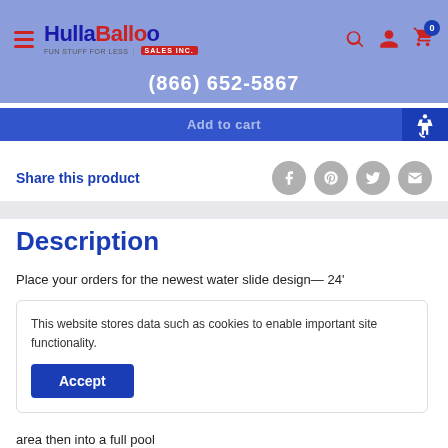[Figure (logo): HullaBallo Sales Inc. logo with hamburger menu icon on purple/blue header background]
(866) 652-5867
Add to cart
Share this product
Description
Place your orders for the newest water slide design— 24'
This website stores data such as cookies to enable important site functionality.
Accept
area then into a full pool